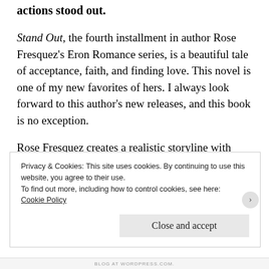actions stood out.
Stand Out, the fourth installment in author Rose Fresquez's Eron Romance series, is a beautiful tale of acceptance, faith, and finding love. This novel is one of my new favorites of hers. I always look forward to this author's new releases, and this book is no exception.
Rose Fresquez creates a realistic storyline with Brent and Keisha's path to romance. Readers will love the diversity of Rose Fresquez's characters and her sweet Christian romances. She is definitely an author I would
Privacy & Cookies: This site uses cookies. By continuing to use this website, you agree to their use.
To find out more, including how to control cookies, see here:
Cookie Policy
Close and accept